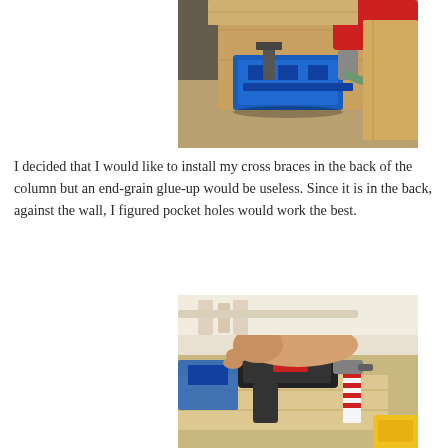[Figure (photo): A blue Kreg pocket hole jig clamped to a piece of wood on a workbench, with a drill being used above it. Workshop setting with various tools visible.]
I decided that I would like to install my cross braces in the back of the column but an end-grain glue-up would be useless. Since it is in the back, against the wall, I figured pocket holes would work the best.
[Figure (photo): A person's hand using a Bosch drill to drive pocket hole screws into a piece of light-colored wood. Blue Kreg jig clamps are visible in the background on a workbench.]